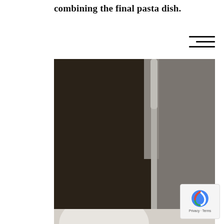combining the final pasta dish.
[Figure (photo): Overhead view of a white bowl containing lentils in dark broth with a mound of creamy polenta or ricotta, garnished with fresh parsley and thyme, with a silver spoon resting in the bowl. A gray linen cloth is visible in the background.]
[Figure (photo): Partial view of a second food photo at the bottom of the page.]
[Figure (other): reCAPTCHA badge with blue arrow icon and Privacy + Terms text]